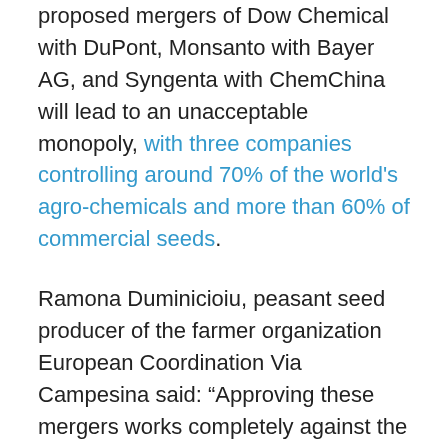proposed mergers of Dow Chemical with DuPont, Monsanto with Bayer AG, and Syngenta with ChemChina will lead to an unacceptable monopoly, with three companies controlling around 70% of the world's agro-chemicals and more than 60% of commercial seeds.
Ramona Duminicioiu, peasant seed producer of the farmer organization European Coordination Via Campesina said: “Approving these mergers works completely against the rights of peasants, with far reaching effects in our society. When the Commission says that small family farms are the back bone of European agriculture does it honestly believe that or is it just lip service? The already fragile rights of peasants regarding seeds, land and markets risks being obliterated by these mega-corporations and our Food Sovereignty abducted. The Commission should say no to these mergers!”